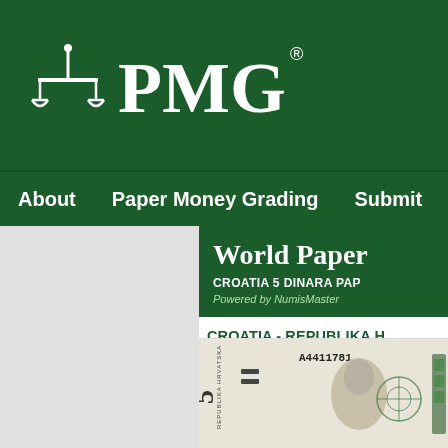[Figure (logo): PMG (Paper Money Guaranty) logo with scales of justice icon and registered trademark symbol, white on dark green background]
About    Paper Money Grading    Submit    N
[Figure (infographic): Dark green banner with text 'World Paper' and subtitle 'CROATIA 5 DINARA PAP' and 'Powered by NumisMaster']
CROATIA - REPUBLIKA H 1991-1993 ISSUE 5 DINA
[Figure (photo): Croatian 5 Dinara banknote showing serial number A4411781, portrait of a person, and decorative geometric elements]